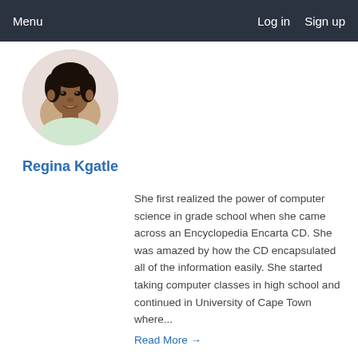Menu    Log in   Sign up
[Figure (photo): Circular profile photo of Regina Kgatle, a young woman smiling]
Regina Kgatle
She first realized the power of computer science in grade school when she came across an Encyclopedia Encarta CD. She was amazed by how the CD encapsulated all of the information easily. She started taking computer classes in high school and continued in University of Cape Town where...
Read More →